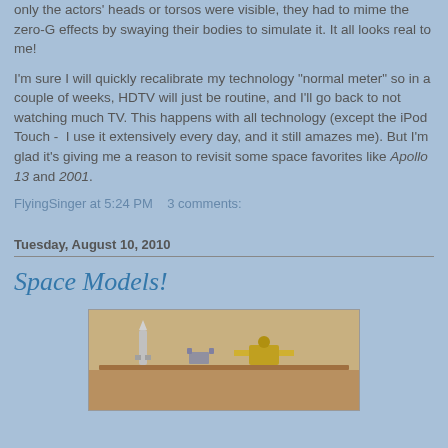only the actors' heads or torsos were visible, they had to mime the zero-G effects by swaying their bodies to simulate it. It all looks real to me!
I'm sure I will quickly recalibrate my technology "normal meter" so in a couple of weeks, HDTV will just be routine, and I'll go back to not watching much TV. This happens with all technology (except the iPod Touch - I use it extensively every day, and it still amazes me). But I'm glad it's giving me a reason to revisit some space favorites like Apollo 13 and 2001.
FlyingSinger at 5:24 PM   3 comments:
Tuesday, August 10, 2010
Space Models!
[Figure (photo): Photo of space models on a table, showing rocket and spacecraft models]